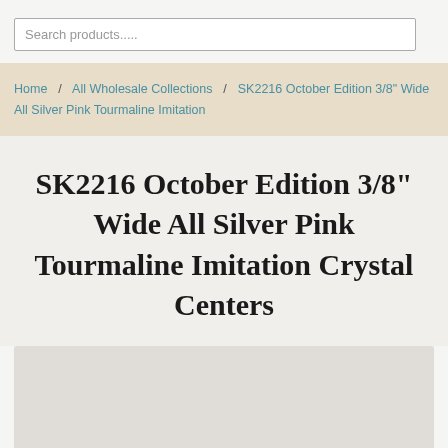Search products.....
Home / All Wholesale Collections / SK2216 October Edition 3/8" Wide All Silver Pink Tourmaline Imitation
SK2216 October Edition 3/8" Wide All Silver Pink Tourmaline Imitation Crystal Centers
[Figure (other): Product image placeholder area]